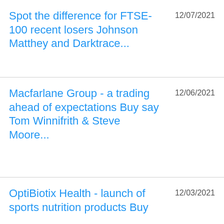Spot the difference for FTSE-100 recent losers Johnson Matthey and Darktrace...
12/07/2021
Macfarlane Group - a trading ahead of expectations Buy say Tom Winnifrith & Steve Moore...
12/06/2021
OptiBiotix Health - launch of sports nutrition products Buy
12/03/2021